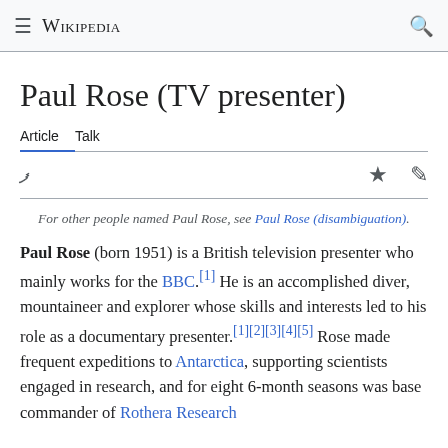Wikipedia
Paul Rose (TV presenter)
Article   Talk
For other people named Paul Rose, see Paul Rose (disambiguation).
Paul Rose (born 1951) is a British television presenter who mainly works for the BBC.[1] He is an accomplished diver, mountaineer and explorer whose skills and interests led to his role as a documentary presenter.[1][2][3][4][5] Rose made frequent expeditions to Antarctica, supporting scientists engaged in research, and for eight 6-month seasons was base commander of Rothera Research